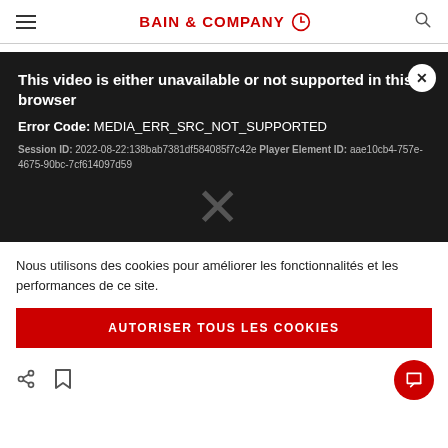BAIN & COMPANY
[Figure (screenshot): Video player error overlay on dark background showing: 'This video is either unavailable or not supported in this browser. Error Code: MEDIA_ERR_SRC_NOT_SUPPORTED. Session ID: 2022-08-22:138bab7381df584085f7c42e Player Element ID: aae10cb4-757e-4675-90bc-7cf614097d59' with a large X watermark and a close button.]
Nous utilisons des cookies pour améliorer les fonctionnalités et les performances de ce site.
AUTORISER TOUS LES COOKIES